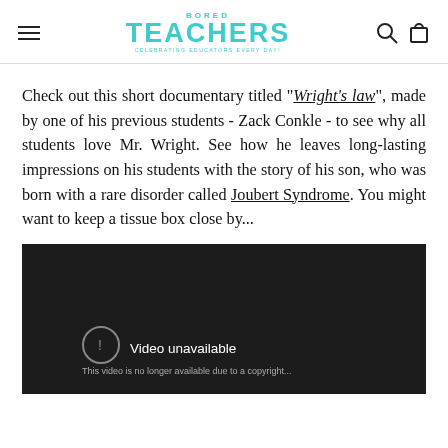BORED TEACHERS - CELEBRATING EDUCATORS EVERY DAY!
Check out this short documentary titled "Wright's law", made by one of his previous students - Zack Conkle - to see why all students love Mr. Wright. See how he leaves long-lasting impressions on his students with the story of his son, who was born with a rare disorder called Joubert Syndrome. You might want to keep a tissue box close by...
[Figure (screenshot): Video unavailable message on dark background with circular warning icon]